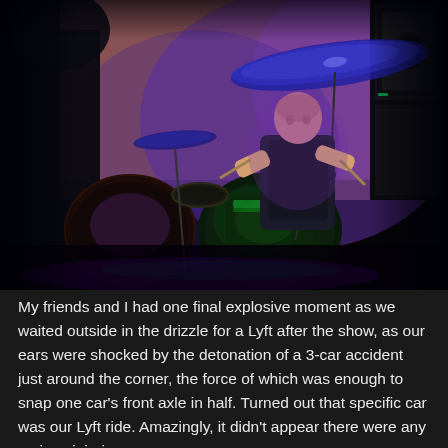[Figure (photo): A band performing on a dimly lit stage with purple and blue lighting. A drummer with a shaved head wearing a dark t-shirt is visible behind a drum kit with green-highlighted drums and a large cymbal. Black speaker cabinets are visible on the right. Other band members are partially visible. The scene is dark with dramatic stage lighting.]
My friends and I had one final explosive moment as we waited outside in the drizzle for a Lyft after the show, as our ears were shocked by the detonation of a 3-car accident just around the corner, the force of which was enough to snap one car's front axle in half. Turned out that specific car was our Lyft ride. Amazingly, it didn't appear there were any serious injuries.